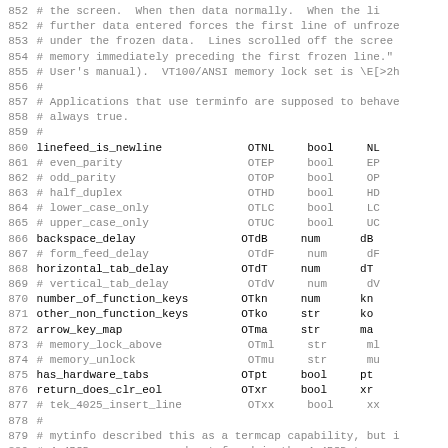Code/terminfo listing, lines 852-883, showing terminfo capability definitions including linefeed_is_newline, backspace_delay, horizontal_tab_delay, number_of_function_keys, other_non_function_keys, arrow_key_map, has_hardware_tabs, return_does_clr_eol and comments about memory lock, parity, duplex settings.